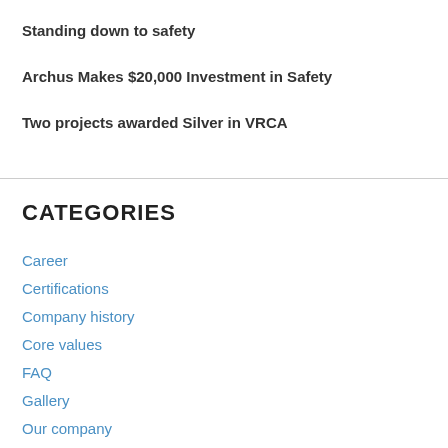Standing down to safety
Archus Makes $20,000 Investment in Safety
Two projects awarded Silver in VRCA
CATEGORIES
Career
Certifications
Company history
Core values
FAQ
Gallery
Our company